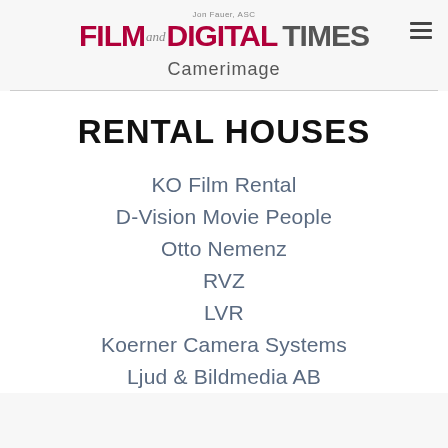Jon Fauer, ASC — FILM AND DIGITAL TIMES
Camerimage
RENTAL HOUSES
KO Film Rental
D-Vision Movie People
Otto Nemenz
RVZ
LVR
Koerner Camera Systems
Ljud & Bildmedia AB